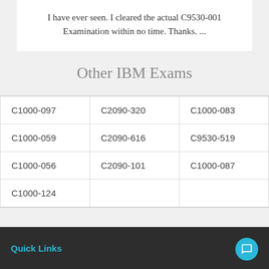I have ever seen. I cleared the actual C9530-001 Examination within no time. Thanks. ...
Other IBM Exams
| C1000-097 | C2090-320 | C1000-083 |
| C1000-059 | C2090-616 | C9530-519 |
| C1000-056 | C2090-101 | C1000-087 |
| C1000-124 |  |  |
Quick Links